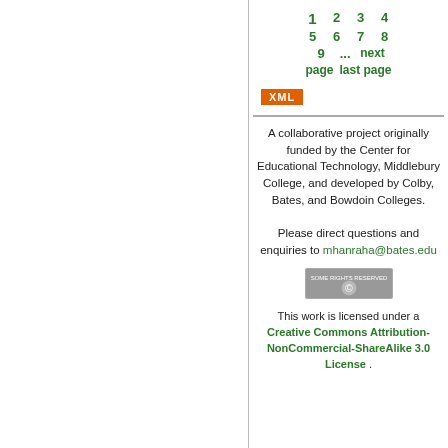1 2 3 4 5 6 7 8 9 ... next page last page
[Figure (other): XML button in orange]
A collaborative project originally funded by the Center for Educational Technology, Middlebury College, and developed by Colby, Bates, and Bowdoin Colleges. Please direct questions and enquiries to mhanraha@bates.edu
[Figure (other): Creative Commons Some Rights Reserved badge]
This work is licensed under a Creative Commons Attribution-NonCommercial-ShareAlike 3.0 License .